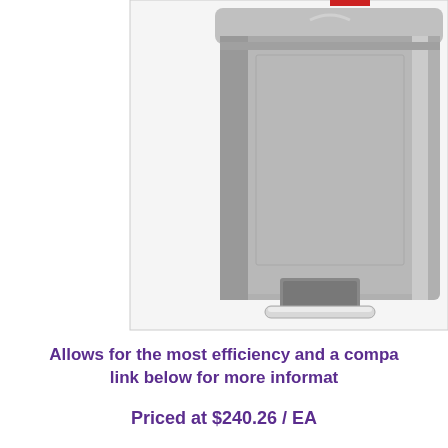[Figure (photo): A gray plastic step-on trash can with a foot pedal mechanism at the bottom front, shown against a white background inside a light gray bordered box.]
Allows for the most efficiency and a compa... link below for more informat...
Priced at $240.26 / EA